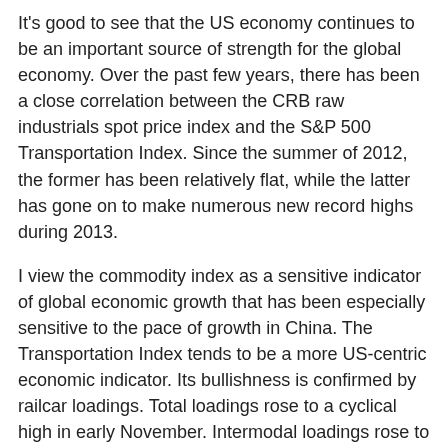It's good to see that the US economy continues to be an important source of strength for the global economy. Over the past few years, there has been a close correlation between the CRB raw industrials spot price index and the S&P 500 Transportation Index. Since the summer of 2012, the former has been relatively flat, while the latter has gone on to make numerous new record highs during 2013.
I view the commodity index as a sensitive indicator of global economic growth that has been especially sensitive to the pace of growth in China. The Transportation Index tends to be a more US-centric economic indicator. Its bullishness is confirmed by railcar loadings. Total loadings rose to a cyclical high in early November. Intermodal loadings rose to a record high. The ATA Trucking Index also rose to a new record high in September.
Not surprisingly, the forward earnings of the S&P 500 Transportation Index rose to a new record high in mid-November. The same can be said for the forward earnings of the S&P 500 Railroads industry, which accounts for 45% of the market cap of the Transportation Index. The fact that